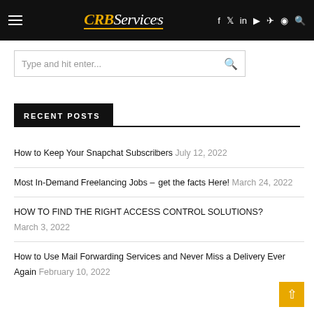CRB Services
RECENT POSTS
How to Keep Your Snapchat Subscribers July 12, 2022
Most In-Demand Freelancing Jobs – get the facts Here! March 24, 2022
HOW TO FIND THE RIGHT ACCESS CONTROL SOLUTIONS? March 3, 2022
How to Use Mail Forwarding Services and Never Miss a Delivery Ever Again February 10, 2022